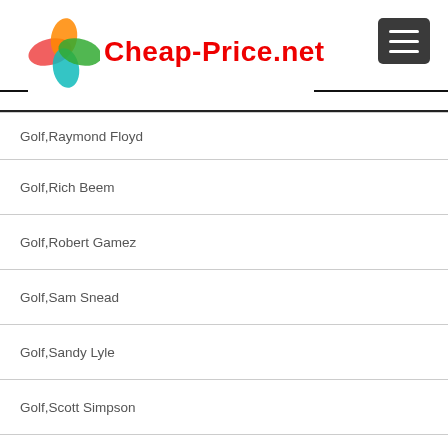Cheap-Price.net
Golf,Raymond Floyd
Golf,Rich Beem
Golf,Robert Gamez
Golf,Sam Snead
Golf,Sandy Lyle
Golf,Scott Simpson
Golf,Se Ri Pak
Golf,Steve Elkington
Golf,Steve Jones
Golf,Steve Stricker
Golf,Tiger Woods